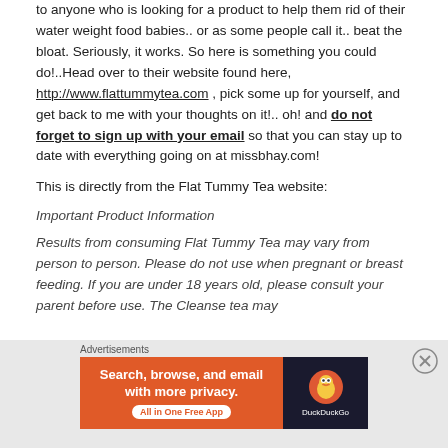to anyone who is looking for a product to help them rid of their water weight food babies.. or as some people call it.. beat the bloat. Seriously, it works. So here is something you could do!..Head over to their website found here, http://www.flattummytea.com , pick some up for yourself, and get back to me with your thoughts on it!.. oh! and do not forget to sign up with your email so that you can stay up to date with everything going on at missbhay.com!
This is directly from the Flat Tummy Tea website:
Important Product Information
Results from consuming Flat Tummy Tea may vary from person to person. Please do not use when pregnant or breast feeding. If you are under 18 years old, please consult your parent before use. The Cleanse tea may
Advertisements
[Figure (other): DuckDuckGo advertisement banner: 'Search, browse, and email with more privacy. All in One Free App' with DuckDuckGo logo on dark background]